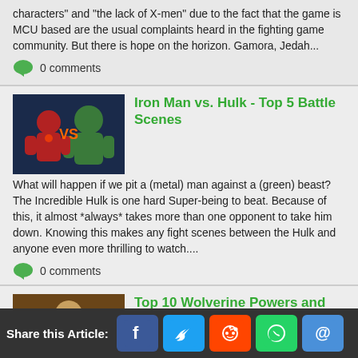characters” and “the lack of X-men” due to the fact that the game is MCU based are the usual complaints heard in the fighting game community. But there is hope on the horizon. Gamora, Jedah...
0 comments
Iron Man vs. Hulk - Top 5 Battle Scenes
[Figure (photo): Iron Man vs Hulk battle scene thumbnail]
What will happen if we pit a (metal) man against a (green) beast? The Incredible Hulk is one hard Super-being to beat. Because of this, it almost *always* takes more than one opponent to take him down. Knowing this makes any fight scenes between the Hulk and anyone even more thrilling to watch....
0 comments
Top 10 Wolverine Powers and Abilities
[Figure (photo): Wolverine with claws extended thumbnail]
Wolverine's Powers Make Him a Dangerous Foe  Wolverine is the
Share this Article: